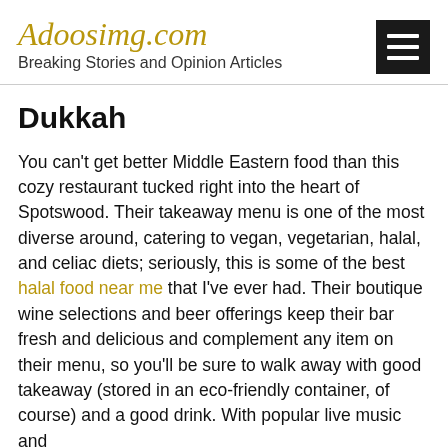Adoosimg.com
Breaking Stories and Opinion Articles
Dukkah
You can't get better Middle Eastern food than this cozy restaurant tucked right into the heart of Spotswood. Their takeaway menu is one of the most diverse around, catering to vegan, vegetarian, halal, and celiac diets; seriously, this is some of the best halal food near me that I've ever had. Their boutique wine selections and beer offerings keep their bar fresh and delicious and complement any item on their menu, so you'll be sure to walk away with good takeaway (stored in an eco-friendly container, of course) and a good drink. With popular live music and